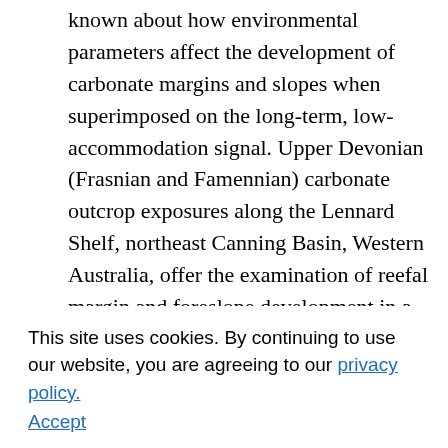known about how environmental parameters affect the development of carbonate margins and slopes when superimposed on the long-term, low-accommodation signal. Upper Devonian (Frasnian and Famennian) carbonate outcrop exposures along the Lennard Shelf, northeast Canning Basin, Western Australia, offer the examination of reefal margin and foreslope development in a variety of settings, one of which is long-term (> 10 Ma) progradation during the late Frasnian and Famennian. In the early phases of progradation, a global biotic crisis and faunal overturn occurred around the Frasnian–Famennian (F-F) boundary, and indications of global climatic cooling are interpreted at points throughout the Late Devonian. The ecologic text and a stratigraphic framework to assess carbonate margins and foreslope attributes and
This site uses cookies. By continuing to use our website, you are agreeing to our privacy policy. Accept